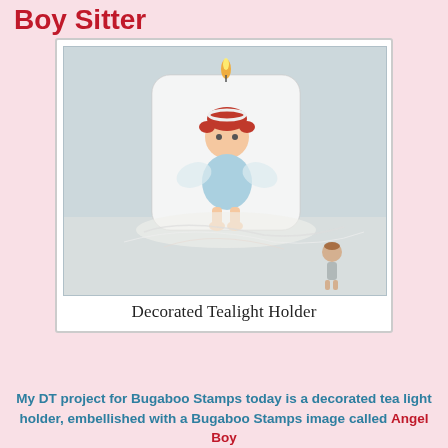Boy Sitter
[Figure (photo): A decorated white tealight/pillar candle with a cartoon angel boy image decoupaged on the front. The candle is lit, surrounded by white fibrous material, with a small angel boy figurine beside it. Inside a white photo card frame.]
Decorated Tealight Holder
My DT project for Bugaboo Stamps today is a decorated tea light holder, embellished with a Bugaboo Stamps image called Angel Boy